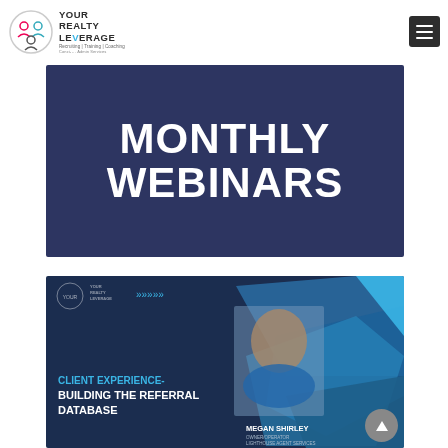[Figure (logo): Your Realty Leverage logo with circular icon featuring stylized person figures and text 'YOUR REALTY LEVERAGE Recruiting | Training | Coaching']
[Figure (infographic): Dark navy banner with large white bold text reading 'MONTHLY WEBINARS']
[Figure (infographic): Dark navy promotional banner for webinar: 'CLIENT EXPERIENCE- BUILDING THE REFERRAL DATABASE' featuring Megan Shirley, Owner/Operator, Lighthouse Agent Services, with photo of woman and geometric blue triangles]